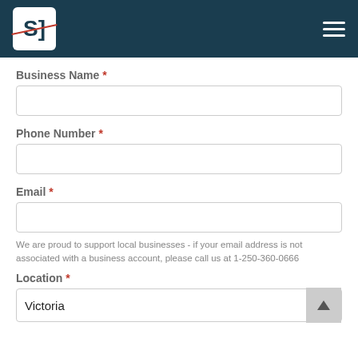SJ Inc. logo and navigation header
Business Name *
Phone Number *
Email *
We are proud to support local businesses - if your email address is not associated with a business account, please call us at 1-250-360-0666
Location *
Victoria